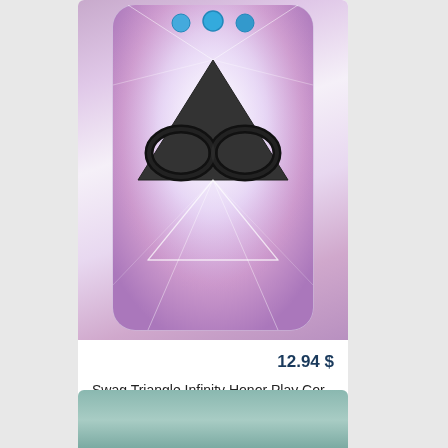[Figure (photo): Product listing showing a smartphone case with swag triangle infinity design on a purple/pink gradient background, displayed on a phone mockup]
12.94 $
Swag Triangle Infinity Honor Play Cor-L29 case